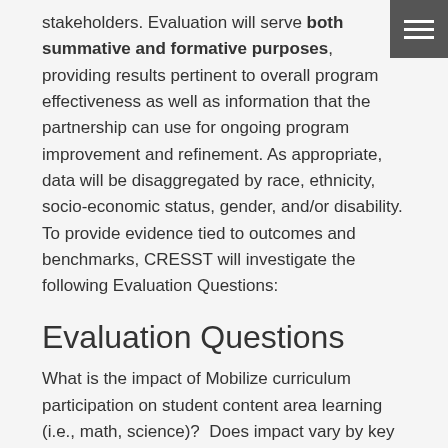stakeholders. Evaluation will serve both summative and formative purposes, providing results pertinent to overall program effectiveness as well as information that the partnership can use for ongoing program improvement and refinement. As appropriate, data will be disaggregated by race, ethnicity, socio-economic status, gender, and/or disability. To provide evidence tied to outcomes and benchmarks, CRESST will investigate the following Evaluation Questions:
Evaluation Questions
What is the impact of Mobilize curriculum participation on student content area learning (i.e., math, science)?  Does impact vary by key student background characteristics? (Outcome 1a)
What is the impact of Mobilize participation on students' attitudes/beliefs, including students' identities as future STEM professionals and future math/science course taking?